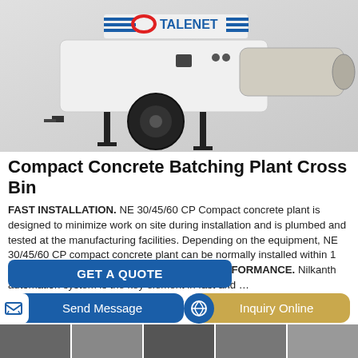[Figure (photo): Compact concrete batching plant with TALENET branding — white machine with black wheel, tow hitch legs, and mixing drum extension on right side.]
Compact Concrete Batching Plant Cross Bin
FAST INSTALLATION. NE 30/45/60 CP Compact concrete plant is designed to minimize work on site during installation and is plumbed and tested at the manufacturing facilities. Depending on the equipment, NE 30/45/60 CP compact concrete plant can be normally installed within 1 day. PERFECT AUTOMATION FOR HIGH PERFORMANCE. Nilkanth automation system is the key element in fast and …
GET A QUOTE
Send Message
Inquiry Online
[Figure (photo): Thumbnail strip of additional product images at the bottom of the page.]